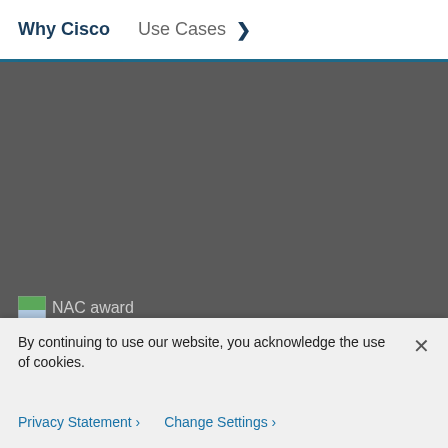Why Cisco   Use Cases   >
[Figure (photo): Dark grey background image area for Cisco NAC award content]
NAC award
Cisco wins global NAC award (PDF)
Network access control (NAC) is a foundational network security defense. Learn why Cisco won Frost &
By continuing to use our website, you acknowledge the use of cookies.
Privacy Statement >   Change Settings >